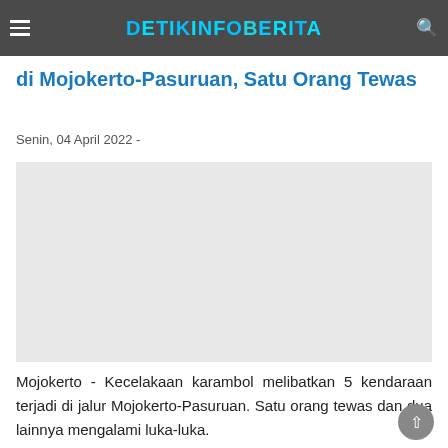DETIKINFOBERITA
di Mojokerto-Pasuruan, Satu Orang Tewas
Senin, 04 April 2022  -
[Figure (photo): Image placeholder area for news article photo]
Mojokerto - Kecelakaan karambol melibatkan 5 kendaraan terjadi di jalur Mojokerto-Pasuruan. Satu orang tewas dan dua lainnya mengalami luka-luka.